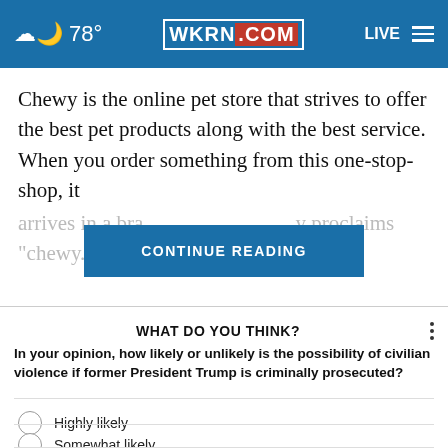🌙 78° | WKRN.COM | LIVE
Chewy is the online pet store that strives to offer the best pet products along with the best service. When you order something from this one-stop-shop, it arrives in a bra[nded box that proudly] proclaims "chewy.com w[ith...]"
CONTINUE READING
WHAT DO YOU THINK?
In your opinion, how likely or unlikely is the possibility of civilian violence if former President Trump is criminally prosecuted?
Highly likely
Somewhat likely
Somewhat unlikely